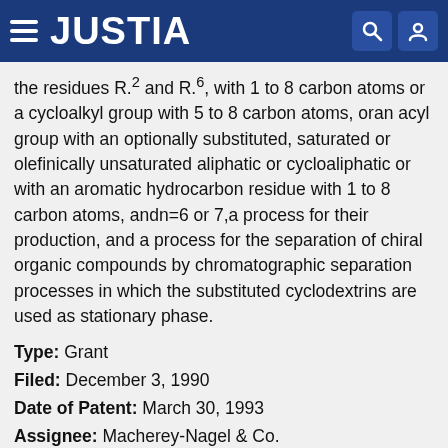JUSTIA
the residues R.sup.2 and R.sup.6, with 1 to 8 carbon atoms or a cycloalkyl group with 5 to 8 carbon atoms, oran acyl group with an optionally substituted, saturated or olefinically unsaturated aliphatic or cycloaliphatic or with an aromatic hydrocarbon residue with 1 to 8 carbon atoms, andn=6 or 7,a process for their production, and a process for the separation of chiral organic compounds by chromatographic separation processes in which the substituted cyclodextrins are used as stationary phase.
Type: Grant
Filed: December 3, 1990
Date of Patent: March 30, 1993
Assignee: Macherey-Nagel & Co.
Inventors: Wilfried Konig, Gerhard Wenz, Sabine Lutz, Eva von der Bey